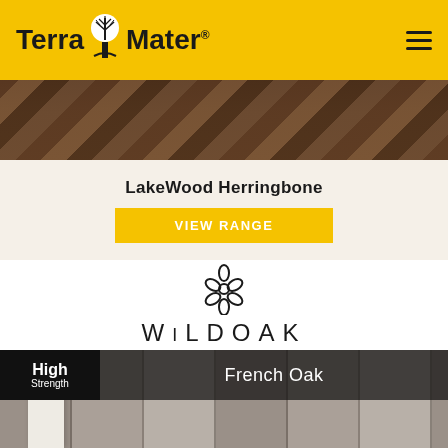Terra Mater
[Figure (photo): Dark wood herringbone flooring photo strip]
LakeWood Herringbone
VIEW RANGE
[Figure (logo): Wild Oak brand logo with decorative floral/seed icon above the text WILDOAK]
[Figure (photo): French Oak flooring room scene with white furniture legs visible, grey-toned wood floor planks]
High Strength
French Oak